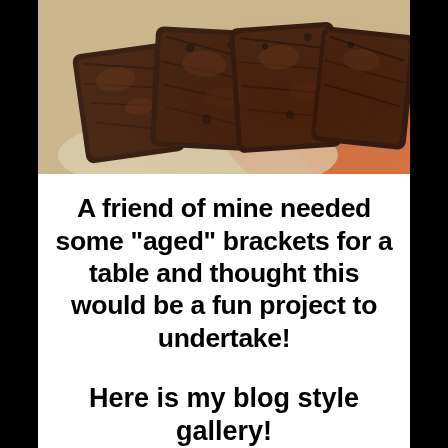[Figure (photo): Photo of dark brown grilled or smoked meat pieces (ribs or brisket) arranged on a light surface with warm orange-red tones in background]
A friend of mine needed some “aged” brackets for a table and thought this would be a fun project to undertake!
Here is my blog style gallery!